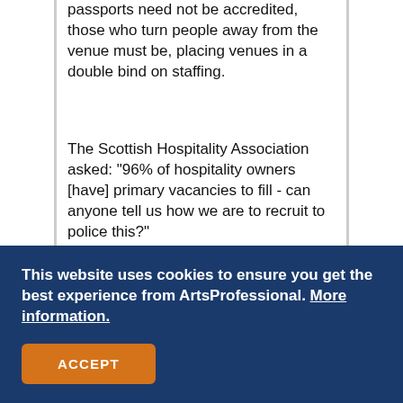passports need not be accredited, those who turn people away from the venue must be, placing venues in a double bind on staffing.
The Scottish Hospitality Association asked: "96% of hospitality owners [have] primary vacancies to fill - can anyone tell us how we are to recruit to police this?"
The Scottish Government says it may reseasses what percentage of checks is "workable and robust" based on local authorities' feedback.
This website uses cookies to ensure you get the best experience from ArtsProfessional. More information.
ACCEPT